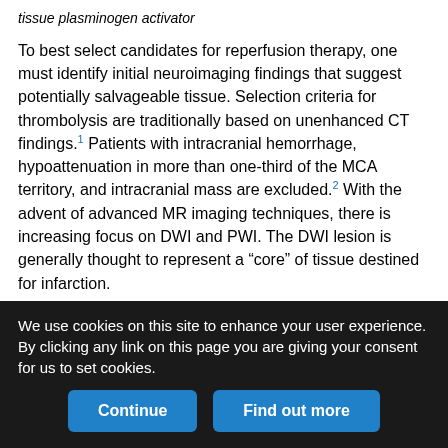tissue plasminogen activator
To best select candidates for reperfusion therapy, one must identify initial neuroimaging findings that suggest potentially salvageable tissue. Selection criteria for thrombolysis are traditionally based on unenhanced CT findings.1 Patients with intracranial hemorrhage, hypoattenuation in more than one-third of the MCA territory, and intracranial mass are excluded.2 With the advent of advanced MR imaging techniques, there is increasing focus on DWI and PWI. The DWI lesion is generally thought to represent a "core" of tissue destined for infarction.
PWI can measure perfusion parameters including CBV, CBF, and MTT.3 In the early stages of stroke, there are frequently regions
We use cookies on this site to enhance your user experience. By clicking any link on this page you are giving your consent for us to set cookies.